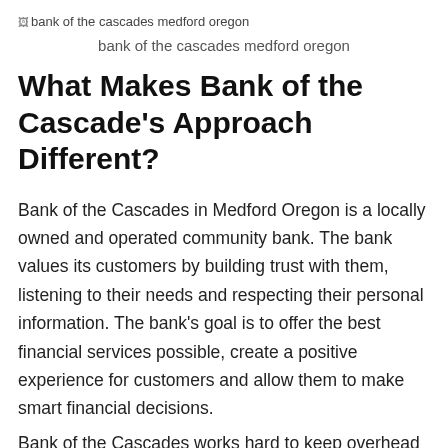[Figure (other): Broken image placeholder with alt text: bank of the cascades medford oregon]
bank of the cascades medford oregon
What Makes Bank of the Cascade’s Approach Different?
Bank of the Cascades in Medford Oregon is a locally owned and operated community bank. The bank values its customers by building trust with them, listening to their needs and respecting their personal information. The bank’s goal is to offer the best financial services possible, create a positive experience for customers and allow them to make smart financial decisions.
Bank of the Cascades works hard to keep overhead low and avoid the costs of a large corporate…